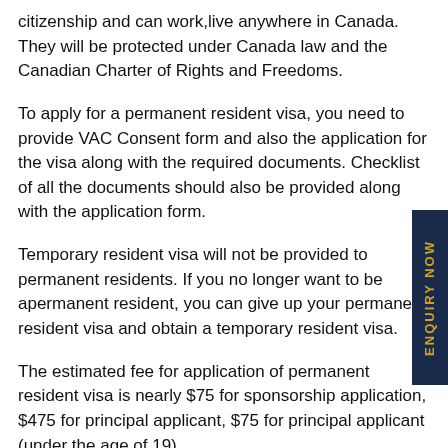citizenship and can work,live anywhere in Canada. They will be protected under Canada law and the Canadian Charter of Rights and Freedoms.
To apply for a permanent resident visa, you need to provide VAC Consent form and also the application for the visa along with the required documents. Checklist of all the documents should also be provided along with the application form.
Temporary resident visa will not be provided to permanent residents. If you no longer want to be apermanent resident, you can give up your permanent resident visa and obtain a temporary resident visa.
The estimated fee for application of permanent resident visa is nearly $75 for sponsorship application, $475 for principal applicant, $75 for principal applicant (under the age of 19)
Study Visa:
A Canada study visa allows foreign students to study in Canada in designated learning institutions. A study permit is valid as long